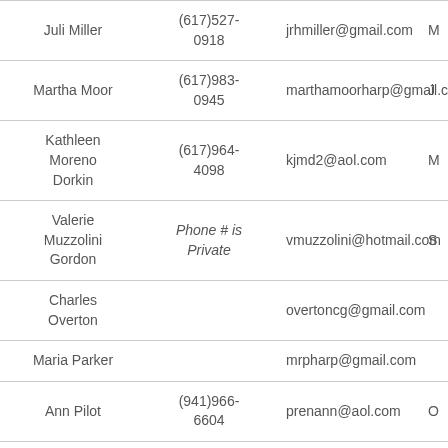| Name | Phone | Email |  |
| --- | --- | --- | --- |
| Juli Miller | (617)527-
0918 | jrhmiller@gmail.com | M |
| Martha Moor | (617)983-
0945 | marthamoorharp@gmail.com | J |
| Kathleen
Moreno
Dorkin | (617)964-
4098 | kjmd2@aol.com | M |
| Valerie
Muzzolini
Gordon | Phone # is
Private | vmuzzolini@hotmail.com | S |
| Charles
Overton |  | overtoncg@gmail.com |  |
| Maria Parker |  | mrpharp@gmail.com |  |
| Ann Pilot | (941)966-
6604 | prenann@aol.com | O |